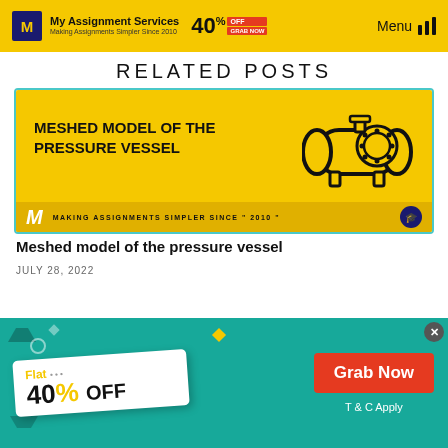My Assignment Services — Making Assignments Simpler Since 2010 | 40% OFF | Menu
RELATED POSTS
[Figure (illustration): Yellow promotional card with text 'MESHED MODEL OF THE PRESSURE VESSEL' and a pressure vessel icon, with 'Making Assignments Simpler Since 2010' footer]
Meshed model of the pressure vessel
JULY 28, 2022
[Figure (infographic): Teal promotional banner with 'Flat 40% OFF' badge, 'Grab Now' red button, and 'T & C Apply' text]